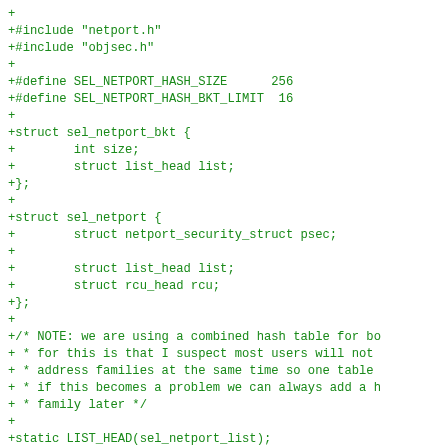[Figure (other): Code diff snippet showing C source code additions for SELinux netport implementation, including includes, defines, structs, and static declarations, displayed in green monospace font on white background.]